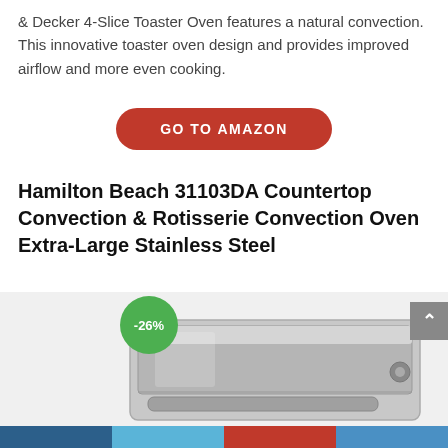& Decker 4-Slice Toaster Oven features a natural convection. This innovative toaster oven design and provides improved airflow and more even cooking.
GO TO AMAZON
Hamilton Beach 31103DA Countertop Convection & Rotisserie Convection Oven Extra-Large Stainless Steel
[Figure (photo): Hamilton Beach stainless steel countertop convection oven with a -26% discount badge (green circle) in the foreground]
Social share bar at the bottom (dark blue, light blue, red, blue segments)